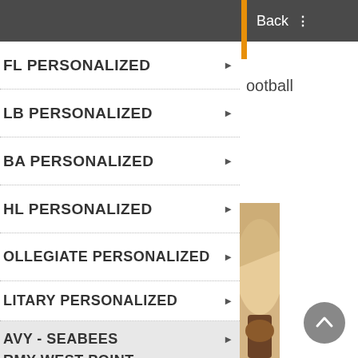Back ⋮
FL PERSONALIZED
ootball
LB PERSONALIZED
BA PERSONALIZED
HL PERSONALIZED
OLLEGIATE PERSONALIZED
LITARY PERSONALIZED
AVY - SEABEES
RMY WEST POINT
[Figure (photo): Cropped football image showing tan leather with brown stitching detail on the right side of the screen]